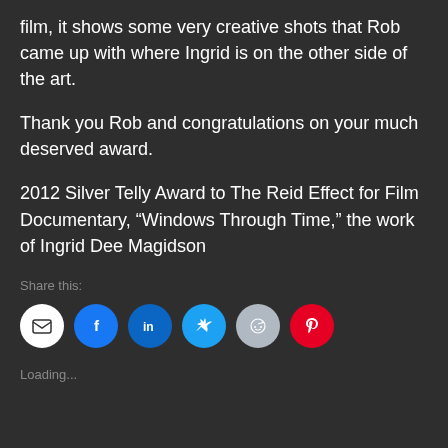film, it shows some very creative shots that Rob came up with where Ingrid is on the other side of the art.
Thank you Rob and congratulations on your much deserved award.
2012 Silver Telly Award to The Reid Effect for Film Documentary, “Windows Through Time,” the work of Ingrid Dee Magidson
Share this:
[Figure (infographic): Row of six circular social share buttons: email (white), Facebook (blue), LinkedIn (dark blue), Twitter (light blue), Reddit (light grey), Pinterest (red)]
Loading...